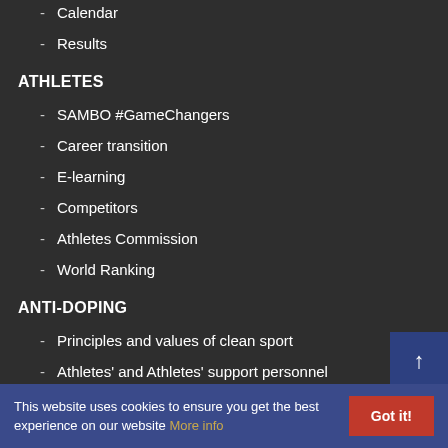- Calendar
- Results
ATHLETES
- SAMBO #GameChangers
- Career transition
- E-learning
- Competitors
- Athletes Commission
- World Ranking
ANTI-DOPING
- Principles and values of clean sport
- Athletes' and Athletes' support personnel
This website uses cookies to ensure you get the best experience on our website More info   Got it!